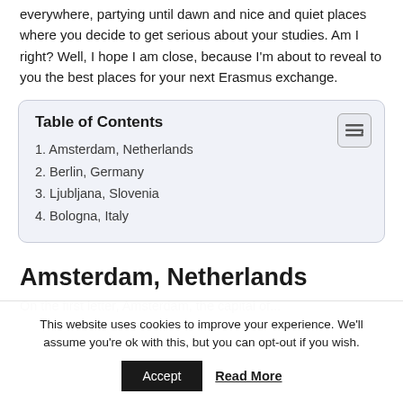everywhere, partying until dawn and nice and quiet places where you decide to get serious about your studies. Am I right? Well, I hope I am close, because I'm about to reveal to you the best places for your next Erasmus exchange.
| Table of Contents |
| --- |
| 1. Amsterdam, Netherlands |
| 2. Berlin, Germany |
| 3. Ljubljana, Slovenia |
| 4. Bologna, Italy |
Amsterdam, Netherlands
On the first letter, Amsterdam, the capital of...
This website uses cookies to improve your experience. We'll assume you're ok with this, but you can opt-out if you wish.